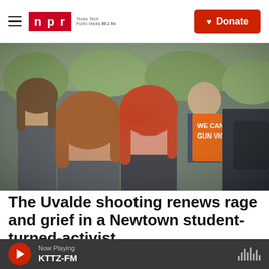npr Texas Tech Public Media 89.1 fm | Donate
[Figure (photo): Crowd of protesters at a gun violence march; prominent figures include a woman with long auburn hair and a young woman with red hair; an orange sign reading 'WE CAN END GUN VIOLENCE' is visible in the background.]
The Uvalde shooting renews rage and grief in a Newtown student-turned-activist
Tovia Smith,  June 3, 2022
Now Playing KTTZ-FM